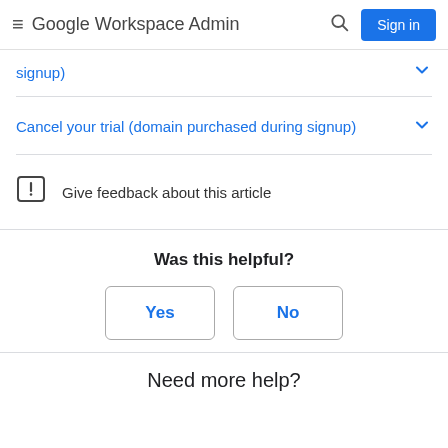Google Workspace Admin — Sign in
signup)
Cancel your trial (domain purchased during signup)
Give feedback about this article
Was this helpful?
Yes
No
Need more help?